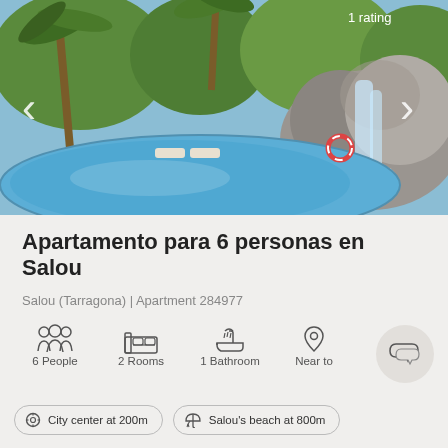[Figure (photo): Outdoor swimming pool with a waterfall feature made of rocks, surrounded by palm trees and greenery, with lounge chairs visible in the background]
1 rating
Apartamento para 6 personas en Salou
Salou (Tarragona) | Apartment 284977
6 People
2 Rooms
1 Bathroom
Near to
City center at 200m
Salou's beach at 800m